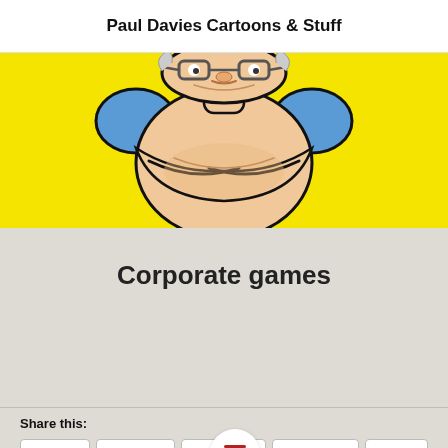Paul Davies Cartoons & Stuff
[Figure (illustration): Yellow banner with a cartoon character (chubby man wearing glasses, drawn in black ink with blue shirt) centered on a bright yellow background.]
Corporate games
Share this:
Twitter  LinkedIn  Pinterest  WhatsApp  More
Loading...